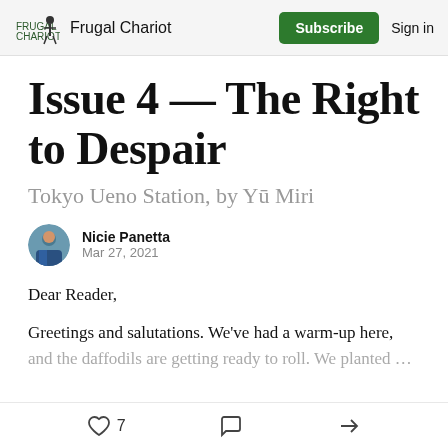Frugal Chariot  Subscribe  Sign in
Issue 4 — The Right to Despair
Tokyo Ueno Station, by Yū Miri
Nicie Panetta
Mar 27, 2021
Dear Reader,
Greetings and salutations. We've had a warm-up here, and the daffodils are getting ready to roll. We planted...